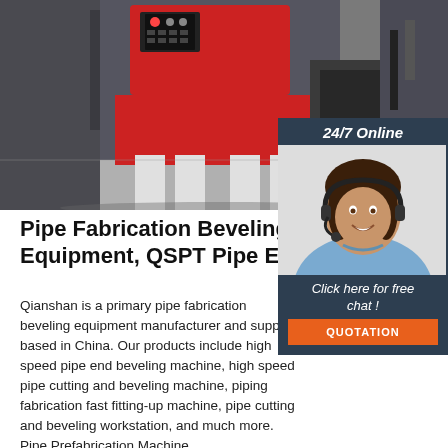[Figure (photo): CNC pipe fabrication / beveling machine in an industrial workshop setting. Large red and grey machine visible on grey concrete floor.]
[Figure (photo): 24/7 Online customer service agent sidebar: woman wearing headset smiling, with '24/7 Online', 'Click here for free chat!' text and an orange QUOTATION button.]
Pipe Fabrication Beveling Equipment, QSPT Pipe En…
Qianshan is a primary pipe fabrication beveling equipment manufacturer and supplier based in China. Our products include high speed pipe end beveling machine, high speed pipe cutting and beveling machine, piping fabrication fast fitting-up machine, pipe cutting and beveling workstation, and much more. Pipe Prefabrication Machine.